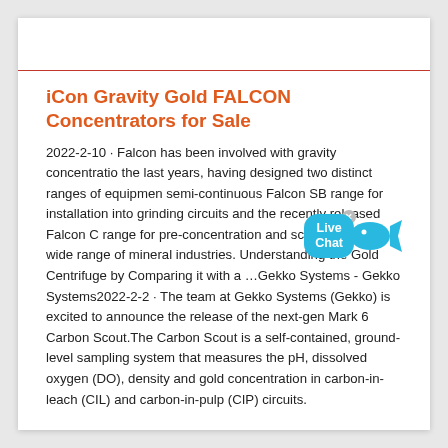iCon Gravity Gold FALCON Concentrators for Sale
2022-2-10 · Falcon has been involved with gravity concentration the last years, having designed two distinct ranges of equipment semi-continuous Falcon SB range for installation into grinding circuits and the recently released Falcon C range for pre-concentration and scavenging in a wide range of mineral industries. Understanding the Gold Centrifuge by Comparing it with a …Gekko Systems - Gekko Systems2022-2-2 · The team at Gekko Systems (Gekko) is excited to announce the release of the next-gen Mark 6 Carbon Scout.The Carbon Scout is a self-contained, ground-level sampling system that measures the pH, dissolved oxygen (DO), density and gold concentration in carbon-in-leach (CIL) and carbon-in-pulp (CIP) circuits.